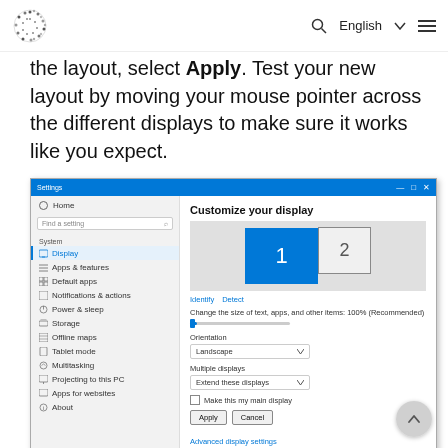English
the layout, select Apply. Test your new layout by moving your mouse pointer across the different displays to make sure it works like you expect.
[Figure (screenshot): Windows 10 Settings window showing 'Customize your display' panel with two monitor icons (1 and 2), Identify and Detect links, scale slider, Orientation dropdown set to Landscape, Multiple displays dropdown set to Extend these displays, Make this my main display checkbox, Apply and Cancel buttons, and Advanced display settings link. Left navigation shows Home, System section with Display highlighted, Apps & features, Default apps, Notifications & actions, Power & sleep, Storage, Offline maps, Tablet mode, Multitasking, Projecting to this PC, Apps for websites, About.]